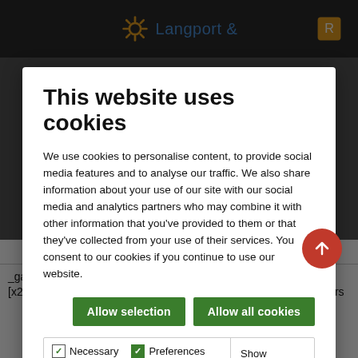Langport &
This website uses cookies
We use cookies to personalise content, to provide social media features and to analyse our traffic. We also share information about your use of our site with our social media and analytics partners who may combine it with other information that you've provided to them or that they've collected from your use of their services. You consent to our cookies if you continue to use our website.
Allow selection | Allow all cookies
|  |  |  |  |
| --- | --- | --- | --- |
| Necessary | Preferences | Statistics | Show details |
| Marketing |  |  |  |
|  |  | sharing widget |  |
| _ga [x2] | Google Yumpu | Registers a unique ID that is used to generate statistical | 2 years |